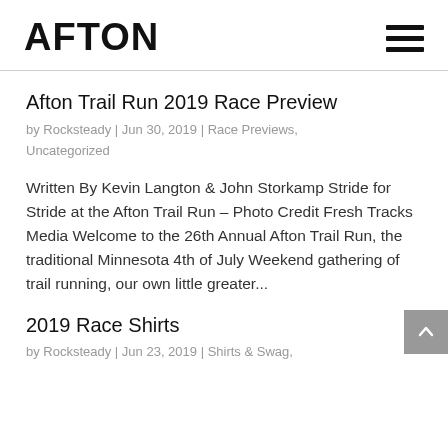AFTON
Afton Trail Run 2019 Race Preview
by Rocksteady | Jun 30, 2019 | Race Previews, Uncategorized
Written By Kevin Langton & John Storkamp Stride for Stride at the Afton Trail Run – Photo Credit Fresh Tracks Media Welcome to the 26th Annual Afton Trail Run, the traditional Minnesota 4th of July Weekend gathering of trail running, our own little greater...
2019 Race Shirts
by Rocksteady | Jun 23, 2019 | Shirts & Swag,